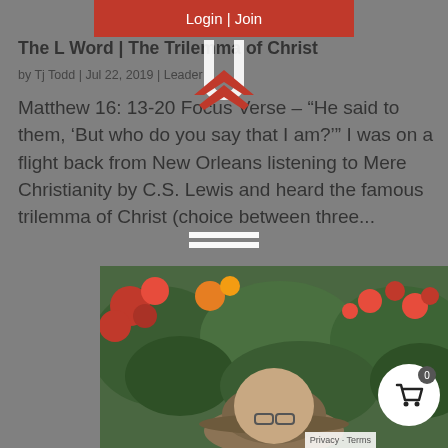Login | Join
The L Word | The Trilemma of Christ
by Tj Todd | Jul 22, 2019 | Leader
Matthew 16: 13-20 Focus Verse – “He said to them, ‘But who do you say that I am?’” I was on a flight back from New Orleans listening to Mere Christianity by C.S. Lewis and heard the famous trilemma of Christ (choice between three...
[Figure (photo): Photo of a person wearing a hat surrounded by red and green flowering plants/trees]